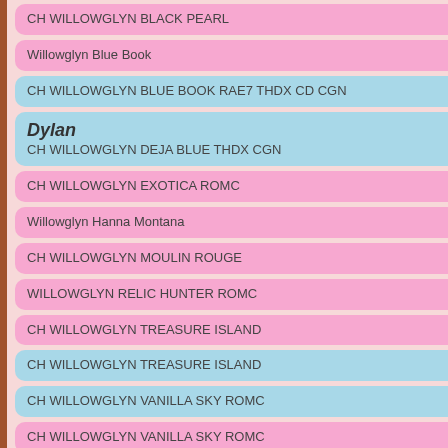CH WILLOWGLYN BLACK PEARL
Willowglyn Blue Book
CH WILLOWGLYN BLUE BOOK RAE7 THDX CD CGN
Dylan
CH WILLOWGLYN DEJA BLUE THDX CGN
CH WILLOWGLYN EXOTICA ROMC
Willowglyn Hanna Montana
CH WILLOWGLYN MOULIN ROUGE
WILLOWGLYN RELIC HUNTER ROMC
CH WILLOWGLYN TREASURE ISLAND
CH WILLOWGLYN TREASURE ISLAND
CH WILLOWGLYN VANILLA SKY ROMC
CH WILLOWGLYN VANILLA SKY ROMC
Axel